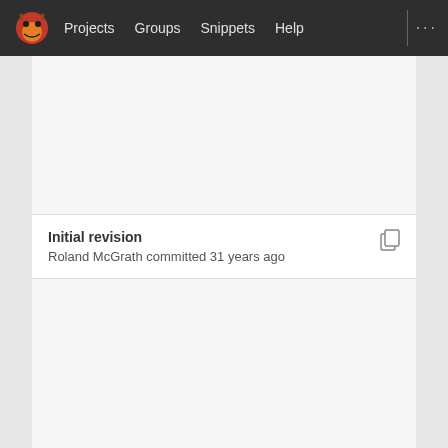Projects  Groups  Snippets  Help
Initial revision
Roland McGrath committed 31 years ago
(basic-save-buffer-1): New subroutine, broken out ...
Richard M. Stallman committed 28 years ago